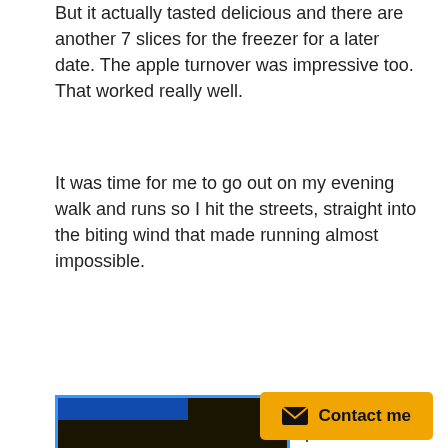But it actually tasted delicious and there are another 7 slices for the freezer for a later date. The apple turnover was impressive too. That worked really well.
It was time for me to go out on my evening walk and runs so I hit the streets, straight into the biting wind that made running almost impossible.
[Figure (photo): Night-time street scene with orange glow from street lights reflecting on wet road surface, dark surroundings, blue border around image with timestamp overlay bar at top]
Nevertheless I pushed on as well as I could but I eschewed the route down on the footpath under the walls due to the bad weather. And as it was by now raining quite heavily I carried
on the route that I took yesterday.
Contact me